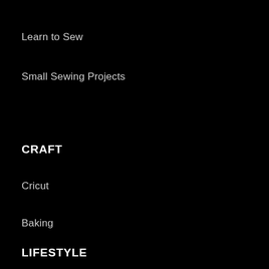Learn to Sew
Small Sewing Projects
CRAFT
Cricut
Baking
LIFESTYLE